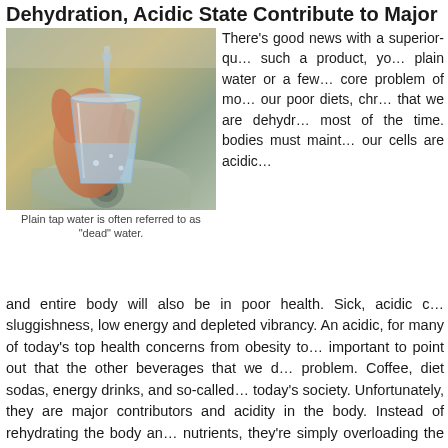Dehydration, Acidic State Contribute to Major Hea…
[Figure (photo): A hand holding a glass being filled with tap water at a sink drain]
Plain tap water is often referred to as "dead" water.
There's good news with a superior-qu… such a product, yo… plain water or a few… core problem of mo… our poor diets, chr… that we are dehydr… most of the time. bodies must maint… our cells are acidic…
and entire body will also be in poor health. Sick, acidic c… sluggishness, low energy and depleted vibrancy. An acidic, … for many of today's top health concerns from obesity to… important to point out that the other beverages that we d… problem. Coffee, diet sodas, energy drinks, and so-called… today's society. Unfortunately, they are major contributors … and acidity in the body. Instead of rehydrating the body an… nutrients, they're simply overloading the body with harsh s…